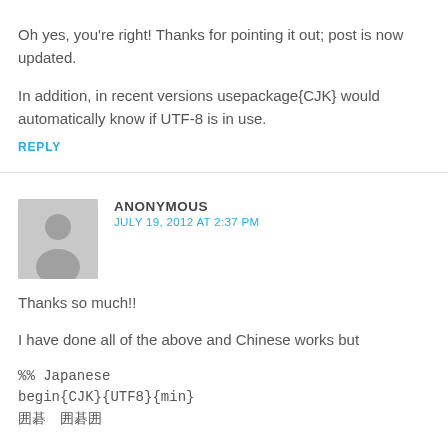Oh yes, you're right! Thanks for pointing it out; post is now updated.
In addition, in recent versions usepackage{CJK} would automatically know if UTF-8 is in use.
REPLY
ANONYMOUS
JULY 19, 2012 AT 2:37 PM
Thanks so much!!
I have done all of the above and Chinese works but
%% Japanese
begin{CJK}{UTF8}{min}
囲碁　囲碁囲